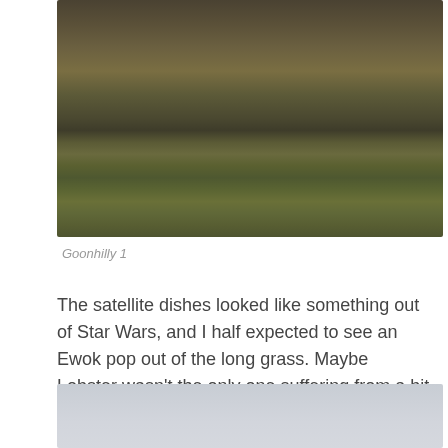[Figure (photo): Photograph of moorland/grassland with dry brown grass and vegetation, taken at ground level.]
Goonhilly 1
The satellite dishes looked like something out of Star Wars, and I half expected to see an Ewok pop out of the long grass. Maybe Lobster wasn't the only one suffering from a bit of heatstroke. Chief Chirpa did not make an appearance as I pedalled past.
[Figure (photo): Photograph with pale grey/white sky, partially visible.]